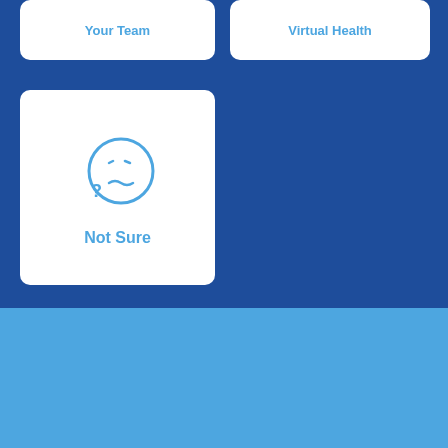Your Team
Virtual Health
[Figure (illustration): Confused face emoji icon with question mark, drawn in blue outline style]
Not Sure
SUBMIT